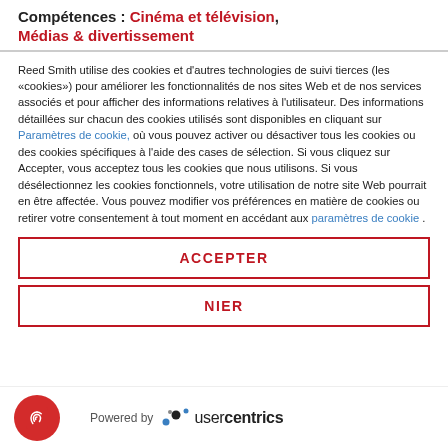Compétences: Cinéma et télévision, Médias & divertissement
Reed Smith utilise des cookies et d'autres technologies de suivi tierces (les «cookies») pour améliorer les fonctionnalités de nos sites Web et de nos services associés et pour afficher des informations relatives à l'utilisateur. Des informations détaillées sur chacun des cookies utilisés sont disponibles en cliquant sur Paramètres de cookie, où vous pouvez activer ou désactiver tous les cookies ou des cookies spécifiques à l'aide des cases de sélection. Si vous cliquez sur Accepter, vous acceptez tous les cookies que nous utilisons. Si vous désélectionnez les cookies fonctionnels, votre utilisation de notre site Web pourrait en être affectée. Vous pouvez modifier vos préférences en matière de cookies ou retirer votre consentement à tout moment en accédant aux paramètres de cookie .
ACCEPTER
NIER
[Figure (logo): Powered by Usercentrics logo with fingerprint icon]
Powered by usercentrics